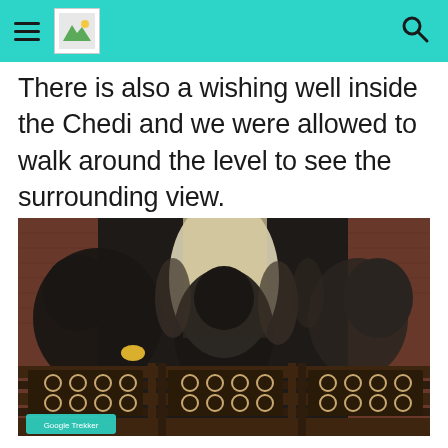navigation bar with hamburger menu, logo, and search icon
There is also a wishing well inside the Chedi and we were allowed to walk around the level to see the surrounding view.
[Figure (photo): Interior photo of a Buddhist Chedi showing visitors leaning over ornate carved wooden railings. The wishing well or opening is visible below. Brick walls and natural light visible in background. A Google Trekker marker visible at bottom left.]